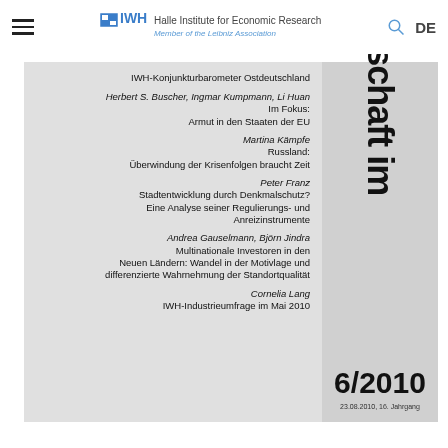IWH – Halle Institute for Economic Research | Member of the Leibniz Association | DE
IWH-Konjunkturbarometer Ostdeutschland
Herbert S. Buscher, Ingmar Kumpmann, Li Huan
Im Fokus:
Armut in den Staaten der EU
Martina Kämpfe
Russland:
Überwindung der Krisenfolgen braucht Zeit
Peter Franz
Stadtentwicklung durch Denkmalschutz?
Eine Analyse seiner Regulierungs- und
Anreizinstrumente
Andrea Gauselmann, Björn Jindra
Multinationale Investoren in den
Neuen Ländern: Wandel in der Motivlage und
differenzierte Wahrnehmung der Standortqualität
Cornelia Lang
IWH-Industrieumfrage im Mai 2010
Wirtschaft im
6/2010
23.08.2010, 16. Jahrgang